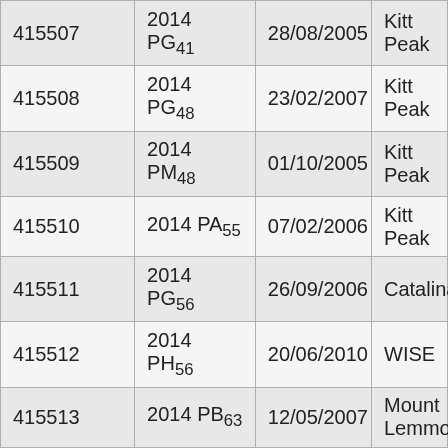| 415507 | 2014 PG₄₁ | 28/08/2005 | Kitt Peak |
| 415508 | 2014 PG₄₈ | 23/02/2007 | Kitt Peak |
| 415509 | 2014 PM₄₈ | 01/10/2005 | Kitt Peak |
| 415510 | 2014 PA₅₅ | 07/02/2006 | Kitt Peak |
| 415511 | 2014 PG₅₆ | 26/09/2006 | Catalina |
| 415512 | 2014 PH₅₆ | 20/06/2010 | WISE |
| 415513 | 2014 PB₆₃ | 12/05/2007 | Mount Lemmon |